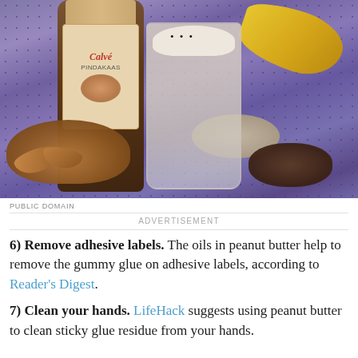[Figure (photo): Photo of a smoothie in a glass with almonds, a Calvé pindakaas (peanut butter) jar, banana, oats, and cacao nibs on a purple patterned cloth]
PUBLIC DOMAIN
ADVERTISEMENT
6) Remove adhesive labels. The oils in peanut butter help to remove the gummy glue on adhesive labels, according to Reader's Digest.
7) Clean your hands. LifeHack suggests using peanut butter to clean sticky glue residue from your hands.